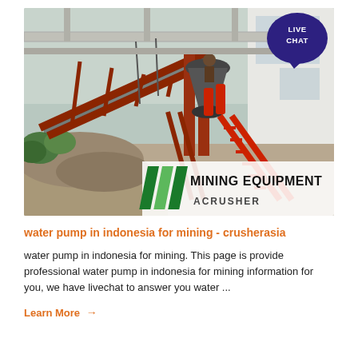[Figure (photo): Industrial mining equipment/crusher facility with red metal conveyor framework structures, stairs, a cone crusher machine, and a white building in the background. Overlaid with a 'LIVE CHAT' speech bubble badge in dark purple and a 'MINING EQUIPMENT ACRUSHER' logo panel with green diagonal slashes in the bottom right corner.]
water pump in indonesia for mining - crusherasia
water pump in indonesia for mining. This page is provide professional water pump in indonesia for mining information for you, we have livechat to answer you water ...
Learn More →